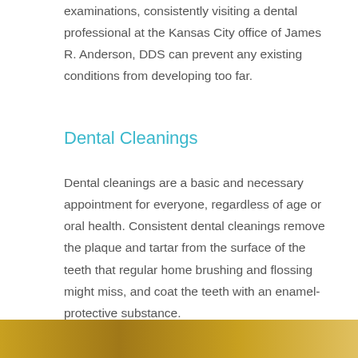examinations, consistently visiting a dental professional at the Kansas City office of James R. Anderson, DDS can prevent any existing conditions from developing too far.
Dental Cleanings
Dental cleanings are a basic and necessary appointment for everyone, regardless of age or oral health. Consistent dental cleanings remove the plaque and tartar from the surface of the teeth that regular home brushing and flossing might miss, and coat the teeth with an enamel-protective substance.
[Figure (photo): A partial image strip at the bottom of the page showing a golden/amber colored background, likely a dental-related photo.]